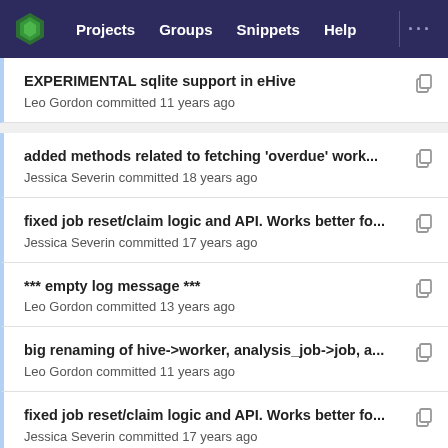Projects  Groups  Snippets  Help  ...
EXPERIMENTAL sqlite support in eHive
Leo Gordon committed 11 years ago
added methods related to fetching 'overdue' work...
Jessica Severin committed 18 years ago
fixed job reset/claim logic and API. Works better fo...
Jessica Severin committed 17 years ago
*** empty log message ***
Leo Gordon committed 13 years ago
big renaming of hive->worker, analysis_job->job, a...
Leo Gordon committed 11 years ago
fixed job reset/claim logic and API. Works better fo...
Jessica Severin committed 17 years ago